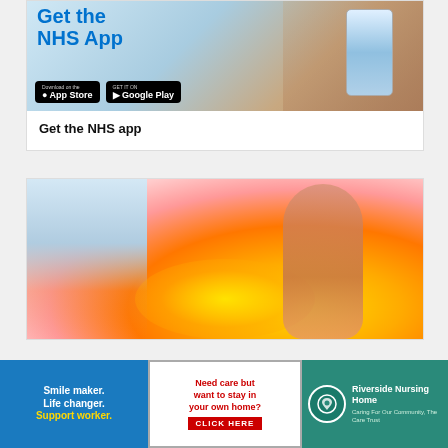[Figure (illustration): NHS App promotional banner with blue text 'Get the NHS App', App Store and Google Play download badges, and a person holding a smartphone]
Get the NHS app
[Figure (photo): Woman with head tilted back, eyes closed, bathed in warm golden sunset light with orange and pink sky background]
[Figure (illustration): Three advertisement banners: 1) Blue banner 'Smile maker. Life changer. Support worker.' in white and yellow text; 2) White banner 'Need care but want to stay in your own home? CLICK HERE' in red text; 3) Teal banner for Riverside Nursing Home]
Smile maker. Life changer. Support worker.
Need care but want to stay in your own home? CLICK HERE
Riverside Nursing Home